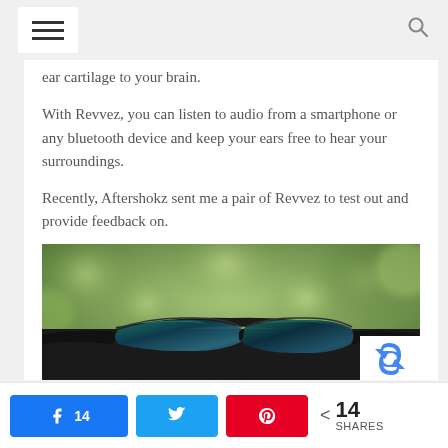Navigation header with hamburger menu and search icon
ear cartilage to your brain.
With Revvez, you can listen to audio from a smartphone or any bluetooth device and keep your ears free to hear your surroundings.
Recently, Aftershokz sent me a pair of Revvez to test out and provide feedback on.
[Figure (photo): Close-up photo of Aftershokz Revvez bone conduction headphones/sunglasses resting against a green leafy background]
Share buttons: Facebook 14, Twitter, Pinterest, Share 14 SHARES